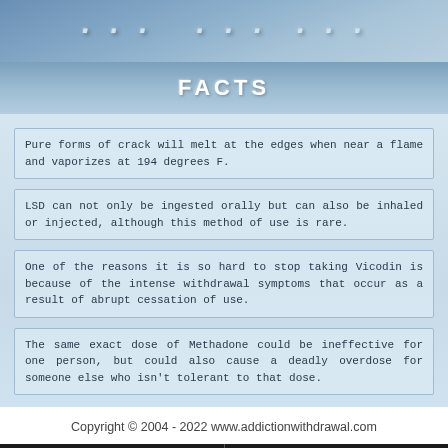[Figure (illustration): Top banner with gradient blue background and stylized text (partially visible at top of page)]
FACTS
Pure forms of crack will melt at the edges when near a flame and vaporizes at 194 degrees F.
LSD can not only be ingested orally but can also be inhaled or injected, although this method of use is rare.
One of the reasons it is so hard to stop taking Vicodin is because of the intense withdrawal symptoms that occur as a result of abrupt cessation of use.
The same exact dose of Methadone could be ineffective for one person, but could also cause a deadly overdose for someone else who isn't tolerant to that dose.
Copyright © 2004 - 2022 www.addictionwithdrawal.com
LIVE CHAT  TEXT US